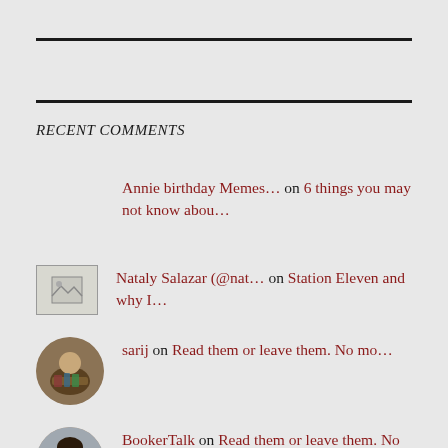RECENT COMMENTS
Annie birthday Memes… on 6 things you may not know abou…
Nataly Salazar (@nat… on Station Eleven and why I…
sarij on Read them or leave them. No mo…
BookerTalk on Read them or leave them. No mo…